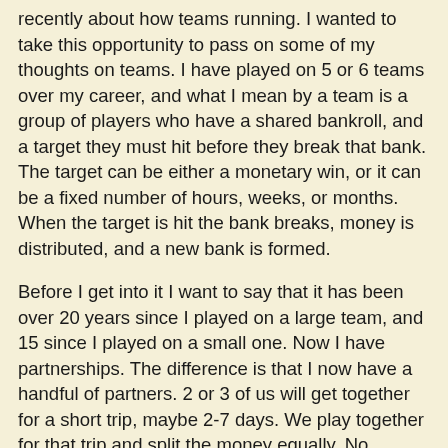recently about how teams running. I wanted to take this opportunity to pass on some of my thoughts on teams. I have played on 5 or 6 teams over my career, and what I mean by a team is a group of players who have a shared bankroll, and a target they must hit before they break that bank. The target can be either a monetary win, or it can be a fixed number of hours, weeks, or months. When the target is hit the bank breaks, money is distributed, and a new bank is formed.
Before I get into it I want to say that it has been over 20 years since I played on a large team, and 15 since I played on a small one. Now I have partnerships. The difference is that I now have a handful of partners. 2 or 3 of us will get together for a short trip, maybe 2-7 days. We play together for that trip and split the money equally. No commitment, no muss, no fuss. We are all together so we know exactly what games we are playing, and how much we are betting. On my last large team, when we finished we had money on 4 continents in 6 currencies. It was like working for a large corporation. In other words, it was like a job. Teams are great for guys with short bankrolls. It is a chance to grow your BR, see the world, and meet other professional players